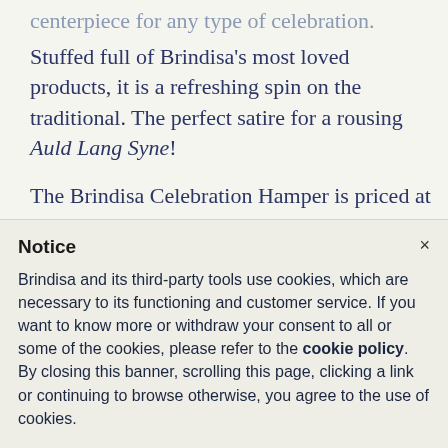centerpiece for any type of celebration.
Stuffed full of Brindisa's most loved products, it is a refreshing spin on the traditional. The perfect satire for a rousing Auld Lang Syne!
The Brindisa Celebration Hamper is priced at £175 and includes:
1 x Senorio iberico bellota hand carved jamon,
Notice
Brindisa and its third-party tools use cookies, which are necessary to its functioning and customer service. If you want to know more or withdraw your consent to all or some of the cookies, please refer to the cookie policy. By closing this banner, scrolling this page, clicking a link or continuing to browse otherwise, you agree to the use of cookies.